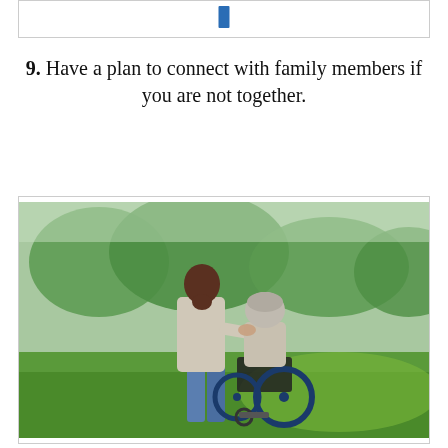[Figure (other): Partial top of a bordered box with a small blue icon/button visible at top center]
9. Have a plan to connect with family members if you are not together.
[Figure (photo): A caregiver standing beside an elderly person in a wheelchair, both viewed from behind, in a green park setting with trees in the background.]